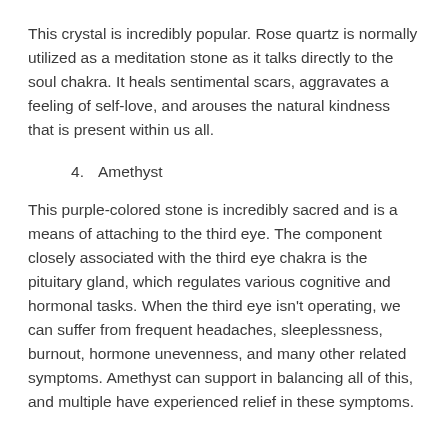This crystal is incredibly popular. Rose quartz is normally utilized as a meditation stone as it talks directly to the soul chakra. It heals sentimental scars, aggravates a feeling of self-love, and arouses the natural kindness that is present within us all.
4.   Amethyst
This purple-colored stone is incredibly sacred and is a means of attaching to the third eye. The component closely associated with the third eye chakra is the pituitary gland, which regulates various cognitive and hormonal tasks. When the third eye isn't operating, we can suffer from frequent headaches, sleeplessness, burnout, hormone unevenness, and many other related symptoms. Amethyst can support in balancing all of this, and multiple have experienced relief in these symptoms.